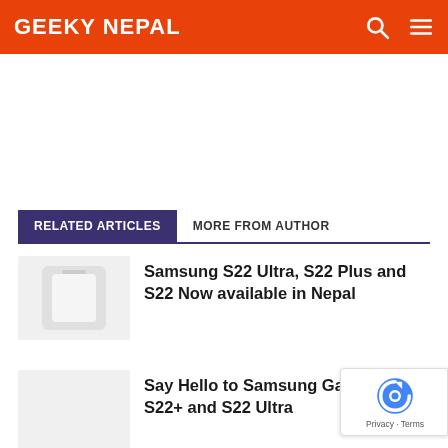GEEKY NEPAL
RELATED ARTICLES   MORE FROM AUTHOR
Samsung S22 Ultra, S22 Plus and S22 Now available in Nepal
Say Hello to Samsung Galaxy S22 S22+ and S22 Ultra